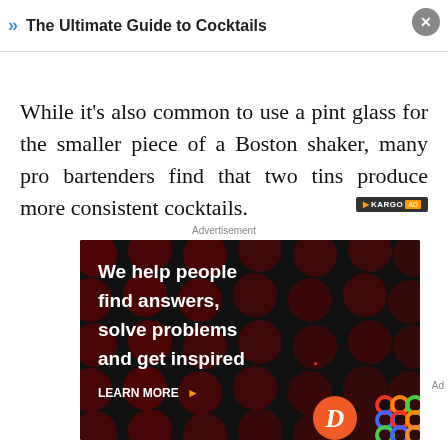The Ultimate Guide to Cocktails
While it's also common to use a pint glass for the smaller piece of a Boston shaker, many pro bartenders find that two tins produce more consistent cocktails.
Advertisement
[Figure (other): Dark advertisement banner with large red polka dots pattern on black background. White bold text reads: 'We help people find answers, solve problems and get inspired.' with a red period. Below: 'LEARN MORE' with orange arrow. Bottom right shows a red circle with white italic D logo and a colorful interlocking circles logo.]